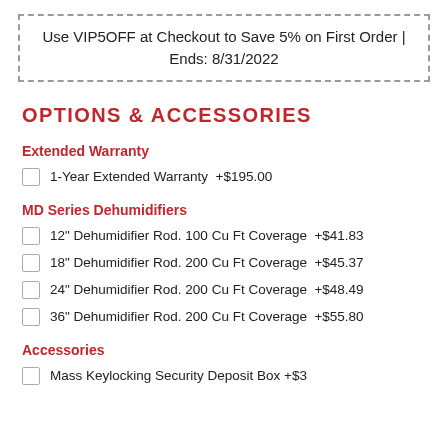Use VIP5OFF at Checkout to Save 5% on First Order | Ends: 8/31/2022
OPTIONS & ACCESSORIES
Extended Warranty
1-Year Extended Warranty +$195.00
MD Series Dehumidifiers
12" Dehumidifier Rod. 100 Cu Ft Coverage +$41.83
18" Dehumidifier Rod. 200 Cu Ft Coverage +$45.37
24" Dehumidifier Rod. 200 Cu Ft Coverage +$48.49
36" Dehumidifier Rod. 200 Cu Ft Coverage +$55.80
Accessories
Mass Keylocking Security Deposit Box +$39.99